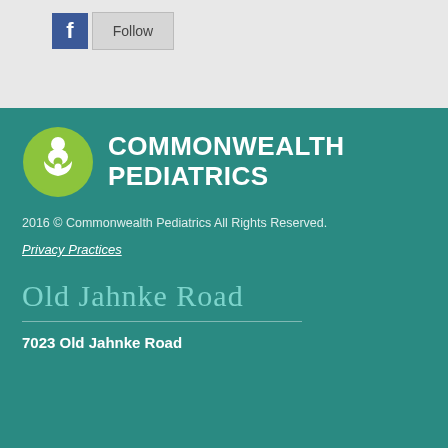[Figure (screenshot): Facebook Follow button widget with blue Facebook icon and grey Follow button]
[Figure (logo): Commonwealth Pediatrics logo: green circle with parent and child icon, white bold text reading COMMONWEALTH PEDIATRICS]
2016 © Commonwealth Pediatrics All Rights Reserved.
Privacy Practices
Old Jahnke Road
7023 Old Jahnke Road